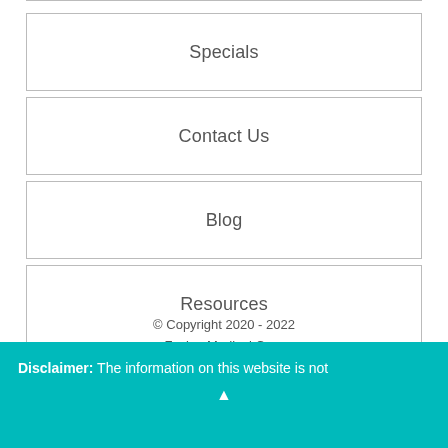Specials
Contact Us
Blog
Resources
© Copyright 2020 - 2022
Fusion Medical Care
Disclaimer: The information on this website is not